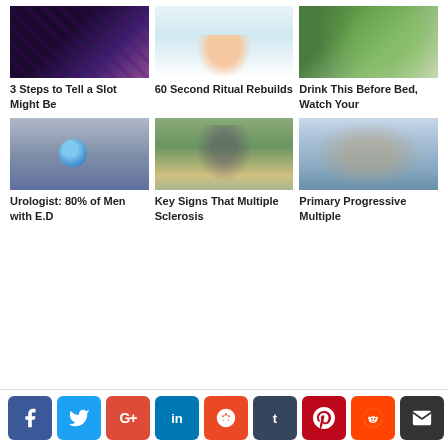[Figure (photo): Casino slot machine scene with person in background]
3 Steps to Tell a Slot Might Be
[Figure (photo): Man making exaggerated expression, wide-eyed and grinning]
60 Second Ritual Rebuilds
[Figure (photo): Green drink with cucumber slices]
Drink This Before Bed, Watch Your
[Figure (photo): Blue pill close-up]
Urologist: 80% of Men with E.D
[Figure (photo): Woman runner outdoors checking fitness tracker]
Key Signs That Multiple Sclerosis
[Figure (photo): Person in wheelchair outdoors]
Primary Progressive Multiple